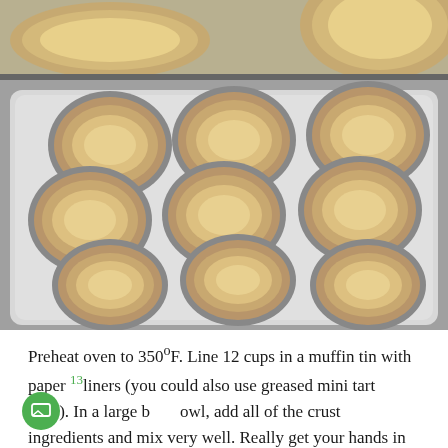[Figure (photo): Two photos of baked mini tart/pie crusts in muffin tins with paper liners. The top strip shows tart pans from above. The main image shows a 12-cup muffin tin with golden baked pie crust cups arranged in 4 rows of 3, viewed at a slight angle on a gray surface.]
Preheat oven to 350°F. Line 12 cups in a muffin tin with paper 13liners (you could also use greased mini tart pans). In a large bowl, add all of the crust ingredients and mix very well. Really get your hands in there to get it all together and work it into a